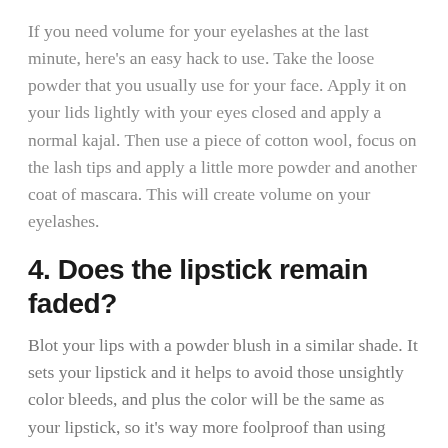If you need volume for your eyelashes at the last minute, here's an easy hack to use. Take the loose powder that you usually use for your face. Apply it on your lids lightly with your eyes closed and apply a normal kajal. Then use a piece of cotton wool, focus on the lash tips and apply a little more powder and another coat of mascara. This will create volume on your eyelashes.
4. Does the lipstick remain faded?
Blot your lips with a powder blush in a similar shade. It sets your lipstick and it helps to avoid those unsightly color bleeds, and plus the color will be the same as your lipstick, so it's way more foolproof than using powder to blot your lips .
5. Want matte lips instantly?
Switch any normal lipstick to a matte formula. Apply your